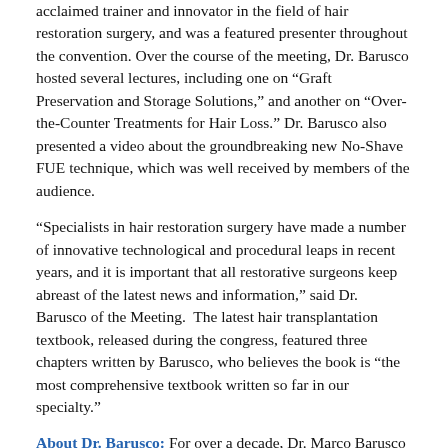acclaimed trainer and innovator in the field of hair restoration surgery, and was a featured presenter throughout the convention. Over the course of the meeting, Dr. Barusco hosted several lectures, including one on “Graft Preservation and Storage Solutions,” and another on “Over-the-Counter Treatments for Hair Loss.” Dr. Barusco also presented a video about the groundbreaking new No-Shave FUE technique, which was well received by members of the audience.
“Specialists in hair restoration surgery have made a number of innovative technological and procedural leaps in recent years, and it is important that all restorative surgeons keep abreast of the latest news and information,” said Dr. Barusco of the Meeting. The latest hair transplantation textbook, released during the congress, featured three chapters written by Barusco, who believes the book is “the most comprehensive textbook written so far in our specialty.”
About Dr. Barusco: For over a decade, Dr. Marco Barusco has committed himself to improving the quality of his patients’ lives through the latest and most cutting-edge hair transplantation and restoration procedures. He has served in key roles on a